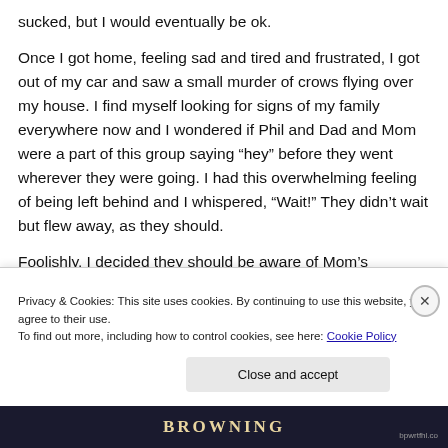sucked, but I would eventually be ok.
Once I got home, feeling sad and tired and frustrated, I got out of my car and saw a small murder of crows flying over my house. I find myself looking for signs of my family everywhere now and I wondered if Phil and Dad and Mom were a part of this group saying “hey” before they went wherever they were going. I had this overwhelming feeling of being left behind and I whispered, “Wait!” They didn’t wait but flew away, as they should.
Foolishly, I decided they should be aware of Mom’s...
Privacy & Cookies: This site uses cookies. By continuing to use this website, you agree to their use.
To find out more, including how to control cookies, see here: Cookie Policy
Close and accept
BROWNING